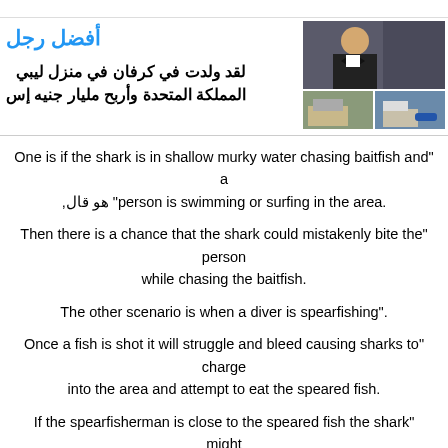[Figure (photo): Arabic advertisement block with photo of man in tuxedo and smaller lifestyle images on the right]
أفضل رجل
لقد ولدت في كرفان في منزل ليبي - المملكة المتحدة وأربح مليار جنيه إس
"One is if the shark is in shallow murky water chasing baitfish and a person is swimming or surfing in the area", هو قال.
"Then there is a chance that the shark could mistakenly bite the person while chasing the baitfish.
"The other scenario is when a diver is spearfishing.
"Once a fish is shot it will struggle and bleed causing sharks to charge into the area and attempt to eat the speared fish.
"If the spearfisherman is close to the speared fish the shark might accidentally bite the person".